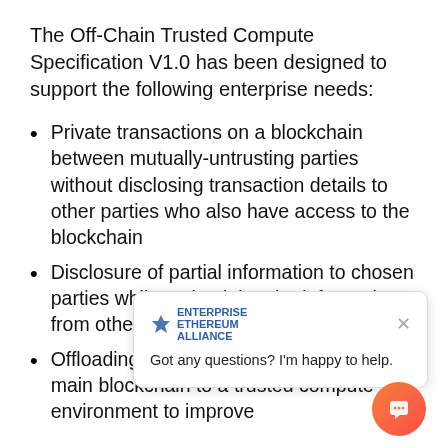The Off-Chain Trusted Compute Specification V1.0 has been designed to support the following enterprise needs:
Private transactions on a blockchain between mutually-untrusting parties without disclosing transaction details to other parties who also have access to the blockchain
Disclosure of partial information to chosen parties while maintaining the information from other parties
Offloading selected transactions from the main blockchain to a trusted compute environment to improve